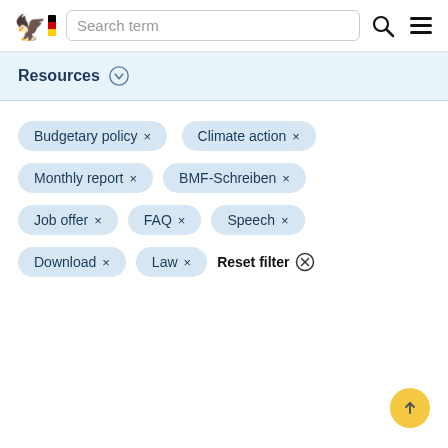Search term
Resources
Budgetary policy ×
Climate action ×
Monthly report ×
BMF-Schreiben ×
Job offer ×
FAQ ×
Speech ×
Download ×
Law ×
Reset filter ⊗